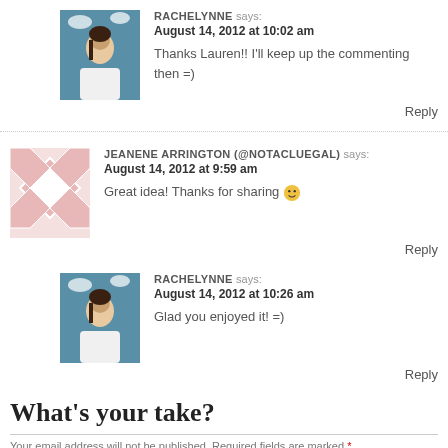RACHELYNNE says: August 14, 2012 at 10:02 am
Thanks Lauren!! I'll keep up the commenting then =)
Reply
JEANENE ARRINGTON (@NOTACLUEGAL) says: August 14, 2012 at 9:59 am
Great idea! Thanks for sharing 🙂
Reply
RACHELYNNE says: August 14, 2012 at 10:26 am
Glad you enjoyed it! =)
Reply
What's your take?
Your email address will not be published. Required fields are marked *